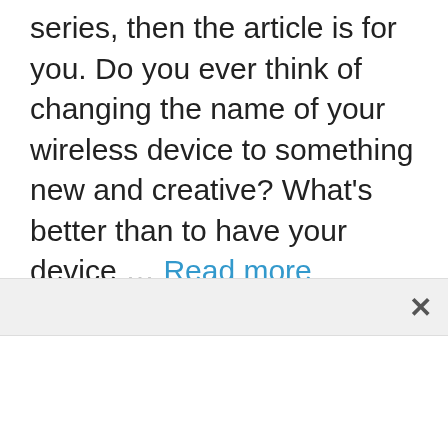series, then the article is for you. Do you ever think of changing the name of your wireless device to something new and creative? What's better than to have your device … Read more
Categories: Cool Wifi Names, Harry Potter WiFi Names
Tags: Best Harry Potter WiFi Names, Funny Harry Potter WiFi Names, Harry Potter WiFi Names, Harry Potter WiFi Puns
Leave a comment